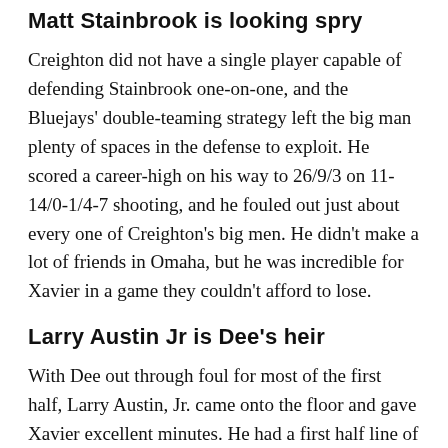Matt Stainbrook is looking spry
Creighton did not have a single player capable of defending Stainbrook one-on-one, and the Bluejays' double-teaming strategy left the big man plenty of spaces in the defense to exploit. He scored a career-high on his way to 26/9/3 on 11-14/0-1/4-7 shooting, and he fouled out just about every one of Creighton's big men. He didn't make a lot of friends in Omaha, but he was incredible for Xavier in a game they couldn't afford to lose.
Larry Austin Jr is Dee's heir
With Dee out through foul for most of the first half, Larry Austin, Jr. came onto the floor and gave Xavier excellent minutes. He had a first half line of 4/0/0 on 1-2/0-0/2-2 shooting, but most importantly he did not turn the ball over at all. He picked up three fouls in the first